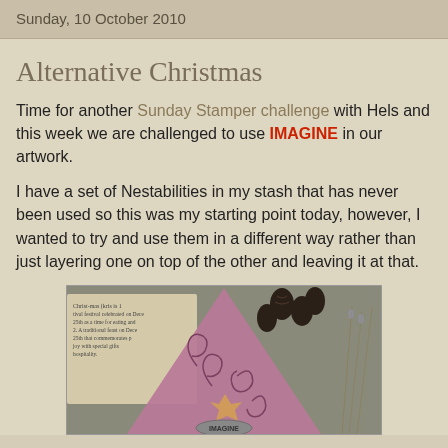Sunday, 10 October 2010
Alternative Christmas
Time for another Sunday Stamper challenge with Hels and this week we are challenged to use IMAGINE in our artwork.
I have a set of Nestabilities in my stash that has never been used so this was my starting point today, however, I wanted to try and use them in a different way rather than just layering one on top of the other and leaving it at that.
[Figure (photo): Craft artwork photo showing a pink/mauve Christmas tree shape decorated with swirl patterns, pine cones, a glittery star, and a metal tag reading IMAGINE, on a textured background with a vintage Christmas definition card.]